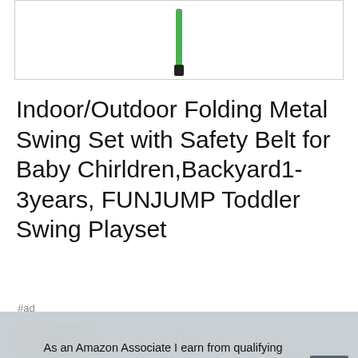[Figure (photo): Partial product image showing green metal swing set pole against white background, inside a bordered box]
Indoor/Outdoor Folding Metal Swing Set with Safety Belt for Baby Chirldren,Backyard1-3years, FUNJUMP Toddler Swing Playset
#ad
[Figure (photo): Thumbnail strip showing product images, partially visible]
As an Amazon Associate I earn from qualifying purchases. This website uses the only necessary cookies to ensure you get the best experience on our website. More information